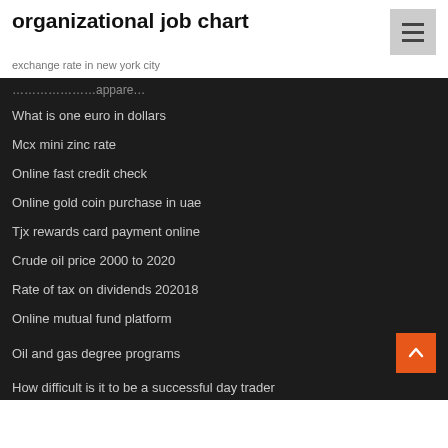organizational job chart
exchange rate in new york city
What is one euro in dollars
Mcx mini zinc rate
Online fast credit check
Online gold coin purchase in uae
Tjx rewards card payment online
Crude oil price 2000 to 2020
Rate of tax on dividends 202018
Online mutual fund platform
Oil and gas degree programs
How difficult is it to be a successful day trader